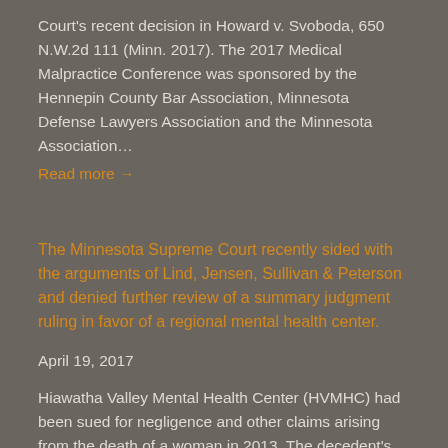Court's recent decision in Howard v. Svoboda, 650 N.W.2d 111 (Minn. 2017). The 2017 Medical Malpractice Conference was sponsored by the Hennepin County Bar Association, Minnesota Defense Lawyers Association and the Minnesota Association…
Read more →
The Minnesota Supreme Court recently sided with the arguments of Lind, Jensen, Sullivan & Peterson and denied further review of a summary judgment ruling in favor of a regional mental health center.
April 19, 2017
Hiawatha Valley Mental Health Center (HVMHC) had been sued for negligence and other claims arising from the death of a woman in 2013. The decedent's next of kin argued that HVMHC breached a duty to the decedent and failed to provide services that may have avoided her death. Attorneys Tim Jung and Matt Sloneker argued to Judge Mary C. Leahy of the Winona County District Court that HVMHC did not owe a duty and therefore could not be held negligent. Judge Leahy agreed and granted